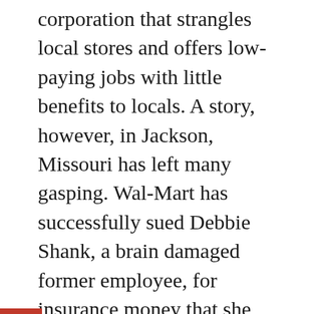corporation that strangles local stores and offers low-paying jobs with little benefits to locals. A story, however, in Jackson, Missouri has left many gasping. Wal-Mart has successfully sued Debbie Shank, a brain damaged former employee, for insurance money that she received before an award in a car accident case. Shank is not only struggling to survive but she lost her son recently in Iraq.
Shank, 52, was left with severe brain